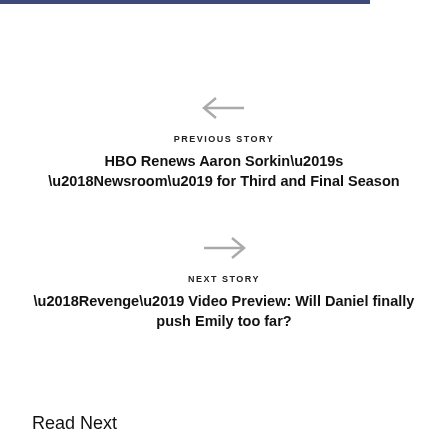[Figure (other): Left arrow navigation icon]
PREVIOUS STORY
HBO Renews Aaron Sorkin’s ‘Newsroom’ for Third and Final Season
[Figure (other): Right arrow navigation icon]
NEXT STORY
‘Revenge’ Video Preview: Will Daniel finally push Emily too far?
Read Next